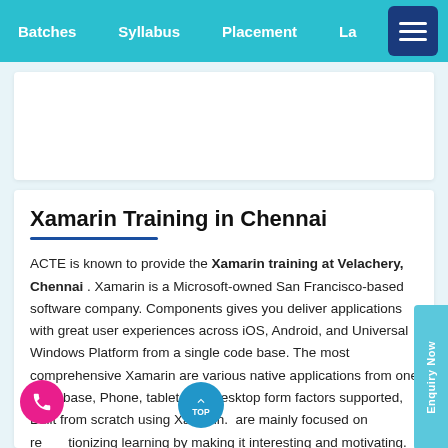Batches   Syllabus   Placement   La...
Xamarin Training in Chennai
ACTE is known to provide the Xamarin training at Velachery, Chennai . Xamarin is a Microsoft-owned San Francisco-based software company. Components gives you deliver applications with great user experiences across iOS, Android, and Universal Windows Platform from a single code base. The most comprehensive Xamarin are various native applications from one code base, Phone, tablet, and desktop form factors supported, Built from scratch using Xamarin. are mainly focused on revolutionizing learning by making it interesting and motivating.